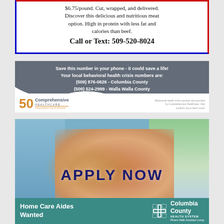$6.75/pound. Cut, wrapped, and delivered. Discover this delicious and nutritious meat option. High in protein with less fat and calories than beef.
Call or Text: 509-520-8024
[Figure (infographic): Comprehensive Healthcare ad: dark gray background with white bold text listing behavioral health crisis numbers. Bottom white section with '50 Comprehensive Healthcare' logo in orange/gray and small text about crisis services. Text: Save this number in your phone - it could save a life! Your local behavioral health crisis numbers are: (509) 876-0626 - Columbia County (509) 524-2999 - Walla Walla County]
[Figure (photo): Columbia County Health System Rivers Walk Assisted Living ad. Photo of caregiving hands holding an elderly person's hand. Large text 'APPLY NOW' in navy blue. Bottom teal banner: 'Home Care Aides Wanted' with Columbia County Health System logo.]